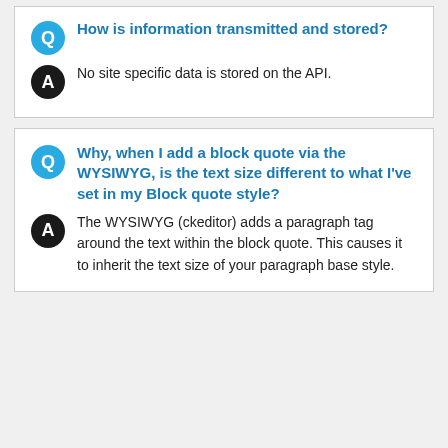Q: How is information transmitted and stored?
A: No site specific data is stored on the API.
Q: Why, when I add a block quote via the WYSIWYG, is the text size different to what I've set in my Block quote style?
A: The WYSIWYG (ckeditor) adds a paragraph tag around the text within the block quote. This causes it to inherit the text size of your paragraph base style.